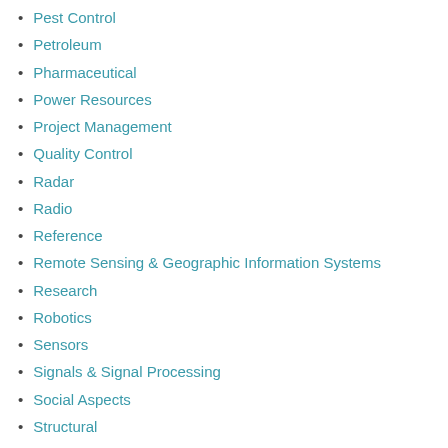Pest Control
Petroleum
Pharmaceutical
Power Resources
Project Management
Quality Control
Radar
Radio
Reference
Remote Sensing & Geographic Information Systems
Research
Robotics
Sensors
Signals & Signal Processing
Social Aspects
Structural
Superconductors & Superconductivity
Surveying
Systems Engineering
Technical & Manufacturing Industries & Trades